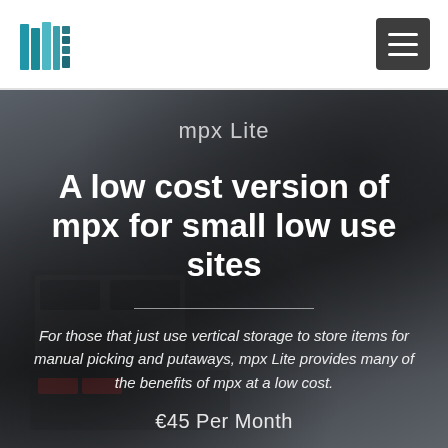[Figure (logo): Stylized vertical books/binders logo in teal and blue colors]
[Figure (illustration): Hamburger menu button (three horizontal lines) on dark grey background]
[Figure (photo): Dark grey industrial vertical storage machine/equipment close-up photo used as hero background]
mpx Lite
A low cost version of mpx for small low use sites
For those that just use vertical storage to store items for manual picking and putaways, mpx Lite provides many of the benefits of mpx at a low cost.
€45 Per Month